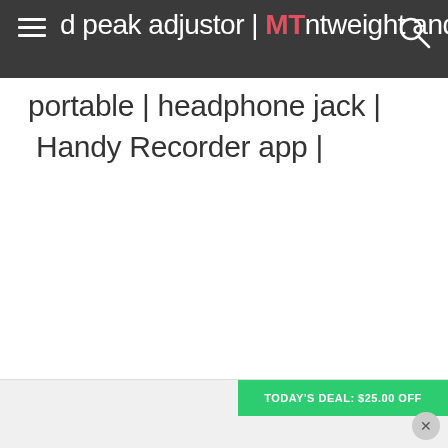d peak adjustor | MTntweight and portable | headphone jack | Handy Recorder app |
d peak adjustor | lightweight and portable | headphone jack | Handy Recorder app |
TODAY'S DEAL: $25.00 OFF